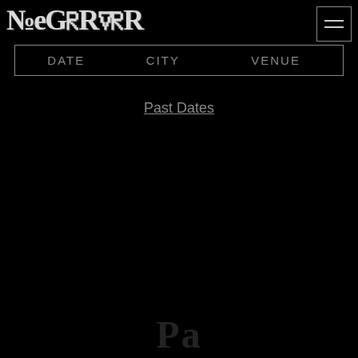TERROR
| DATE | CITY | VENUE |
| --- | --- | --- |
Past Dates
Pa